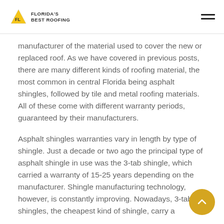Florida's Best Roofing
manufacturer of the material used to cover the new or replaced roof. As we have covered in previous posts, there are many different kinds of roofing material, the most common in central Florida being asphalt shingles, followed by tile and metal roofing materials. All of these come with different warranty periods, guaranteed by their manufacturers.
Asphalt shingles warranties vary in length by type of shingle. Just a decade or two ago the principal type of asphalt shingle in use was the 3-tab shingle, which carried a warranty of 15-25 years depending on the manufacturer. Shingle manufacturing technology, however, is constantly improving. Nowadays, 3-tab shingles, the cheapest kind of shingle, carry a